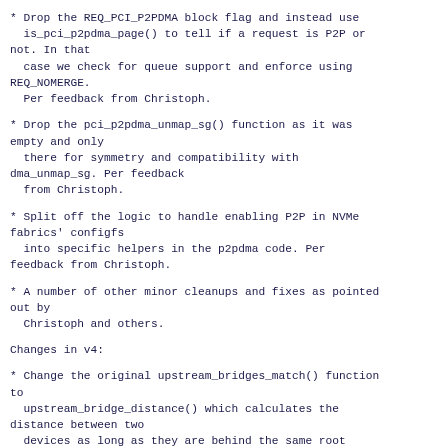* Drop the REQ_PCI_P2PDMA block flag and instead use is_pci_p2pdma_page() to tell if a request is P2P or not. In that
  case we check for queue support and enforce using REQ_NOMERGE.
  Per feedback from Christoph.
* Drop the pci_p2pdma_unmap_sg() function as it was empty and only
  there for symmetry and compatibility with dma_unmap_sg. Per feedback
  from Christoph.
* Split off the logic to handle enabling P2P in NVMe fabrics' configfs
  into specific helpers in the p2pdma code. Per feedback from Christoph.
* A number of other minor cleanups and fixes as pointed out by
  Christoph and others.
Changes in v4:
* Change the original upstream_bridges_match() function to
  upstream_bridge_distance() which calculates the distance between two
  devices as long as they are behind the same root port. This should